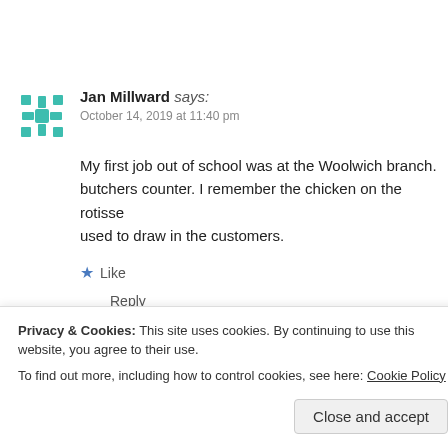[Figure (illustration): Teal/turquoise decorative snowflake/star avatar icon for Jan Millward]
Jan Millward says:
October 14, 2019 at 11:40 pm
My first job out of school was at the Woolwich branch. butchers counter. I remember the chicken on the rotisse used to draw in the customers.
★ Like
Reply
[Figure (illustration): Blue/purple decorative avatar icon for Peter Matthews]
Peter Matthews says:
Privacy & Cookies: This site uses cookies. By continuing to use this website, you agree to their use.
To find out more, including how to control cookies, see here: Cookie Policy
Close and accept